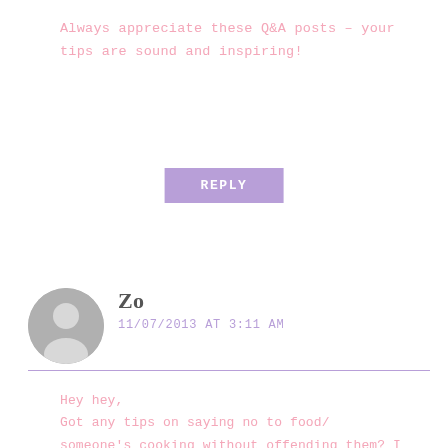Always appreciate these Q&A posts – your tips are sound and inspiring!
REPLY
Zo
11/07/2013 AT 3:11 AM
Hey hey,
Got any tips on saying no to food/someone's cooking without offending them? I find it so hard to say no to people because i'm scared they'll think i'm being rude! Especially when they've gone to a lot of effort.
Thanks!